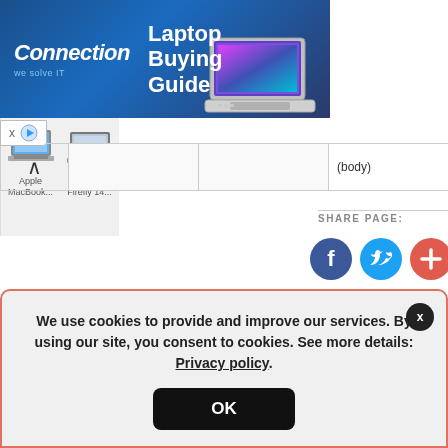[Figure (screenshot): Connection Laptop Buying Guide advertisement banner with laptop image, Apple MacBook and HP ZBook Firefly 14 product images on the right]
|  |  |  | (body) |
SHARE PAGE:
[Figure (infographic): Social share buttons: Facebook (dark blue circle with f), Twitter (light blue circle with bird), and a red/orange circle with plus sign]
We use cookies to provide and improve our services. By using our site, you consent to cookies. See more details: Privacy policy.
OK